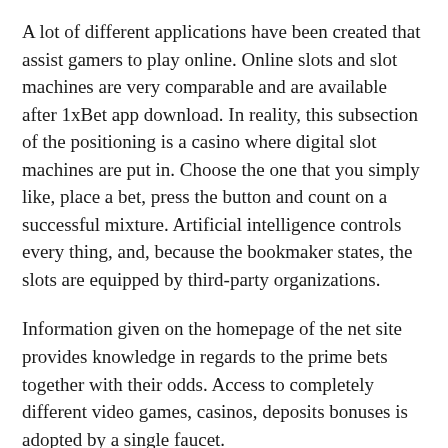A lot of different applications have been created that assist gamers to play online. Online slots and slot machines are very comparable and are available after 1xBet app download. In reality, this subsection of the positioning is a casino where digital slot machines are put in. Choose the one that you simply like, place a bet, press the button and count on a successful mixture. Artificial intelligence controls every thing, and, because the bookmaker states, the slots are equipped by third-party organizations.
Information given on the homepage of the net site provides knowledge in regards to the prime bets together with their odds. Access to completely different video games, casinos, deposits bonuses is adopted by a single faucet.
All the participant has to do is to initiate the process of 1xBet app download on his or her cell system. In addition, the bookmaker's mobile website is obtainable for any gamester. If